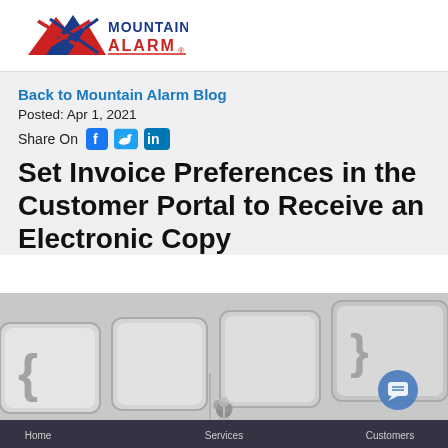[Figure (logo): Mountain Alarm logo with red mountain graphic and blue/red text]
Back to Mountain Alarm Blog
Posted: Apr 1, 2021
Share On [Facebook] [Twitter] [LinkedIn]
Set Invoice Preferences in the Customer Portal to Receive an Electronic Copy
[Figure (photo): Close-up photo of computer keyboard keys in black and white, with website navigation bar at bottom showing Home, Services, and Customers sections, and a blue chat bubble icon]